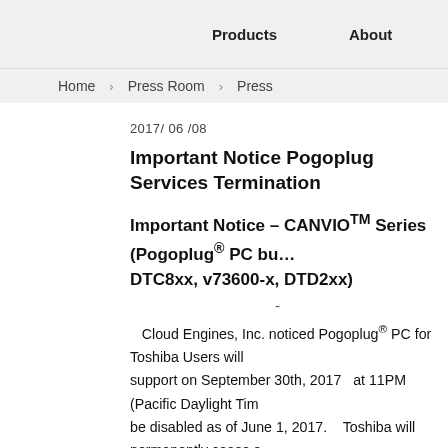Products   About
Home   Press Room   Press
2017/ 06 /08
Important Notice Pogoplug Services Termination
Important Notice – CANVIO™ Series (Pogoplug® PC bu... DTC8xx, v73600-x, DTD2xx)
Cloud Engines, Inc. noticed Pogoplug® PC for Toshiba Users will support on September 30th, 2017  at 11PM  (Pacific Daylight Tim... be disabled as of June 1, 2017.   Toshiba will permanently cease s... change applies to all Pogoplug® products including but not limited ... the Pogoplug® Backup Software, Pogoplug® Remote Access, the P... Pogoplug®'s mobile apps. After September 30th, 2017 at 11PM (Pa... remaining on Pogoplug®'s servers will be securely and permanently...